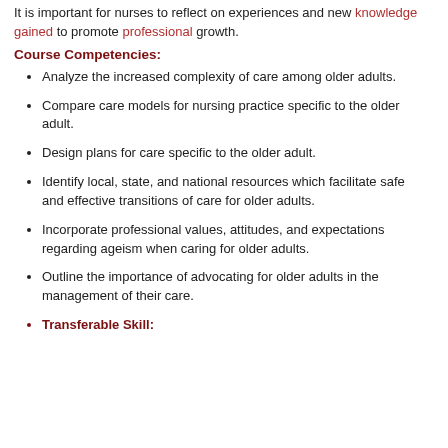It is important for nurses to reflect on experiences and new knowledge gained to promote professional growth.
Course Competencies:
Analyze the increased complexity of care among older adults.
Compare care models for nursing practice specific to the older adult.
Design plans for care specific to the older adult.
Identify local, state, and national resources which facilitate safe and effective transitions of care for older adults.
Incorporate professional values, attitudes, and expectations regarding ageism when caring for older adults.
Outline the importance of advocating for older adults in the management of their care.
Transferable Skill: